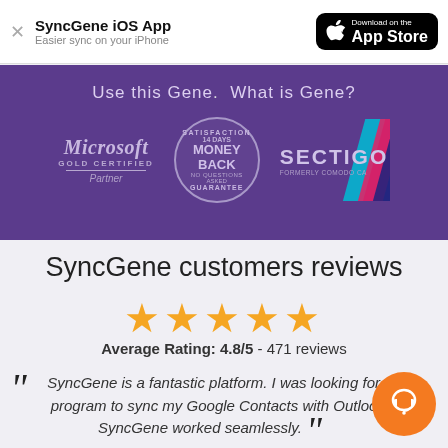SyncGene iOS App – Easier sync on your iPhone – Download on the App Store
[Figure (infographic): Purple banner with tagline 'Use this Gene. What is Gene?' and three trust badges: Microsoft Gold Certified Partner, 14 Days Satisfaction Money Back Guarantee stamp, and Sectigo logo with diagonal colored stripes]
SyncGene customers reviews
[Figure (infographic): Five gold stars rating display]
Average Rating: 4.8/5 - 471 reviews
SyncGene is a fantastic platform. I was looking for a program to sync my Google Contacts with Outlook. SyncGene worked seamlessly.